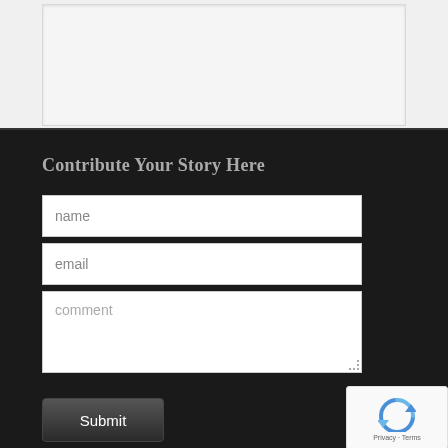[Figure (screenshot): Light gray content area at the top of the page, representing an empty or cropped web page content section with a white/light gray box]
Contribute Your Story Here
name
email
comment
Submit
[Figure (logo): reCAPTCHA widget with spinning arrows logo and Privacy - Terms text]